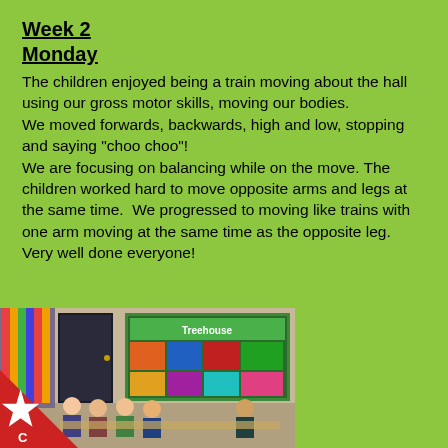Week 2
Monday
The children enjoyed being a train moving about the hall using our gross motor skills, moving our bodies.
We moved forwards, backwards, high and low, stopping and saying "choo choo"!
We are focusing on balancing while on the move. The children worked hard to move opposite arms and legs at the same time.  We progressed to moving like trains with one arm moving at the same time as the opposite leg. Very well done everyone!
[Figure (photo): Classroom photo showing children sitting at tables in a school hall with colourful displays on the walls including a 'Treehouse' display board]